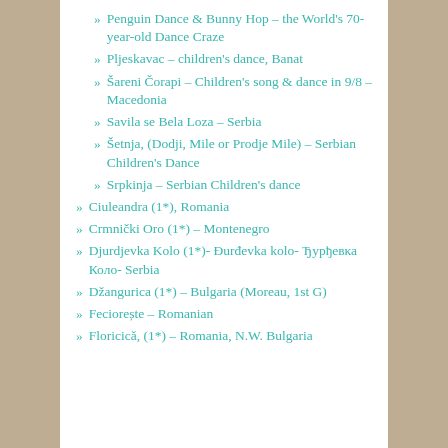Penguin Dance & Bunny Hop – the World's 70-year-old Dance Craze
Pljeskavac – children's dance, Banat
Šareni Čorapi – Children's song & dance in 9/8 – Macedonia
Savila se Bela Loza – Serbia
Šetnja, (Dodji, Mile or Prodje Mile) – Serbian Children's Dance
Srpkinja – Serbian Children's dance
Ciuleandra (1*), Romania
Crmnički Oro (1*) – Montenegro
Djurdjevka Kolo (1*)- Đurđevka kolo- Ђурђевка Коло- Serbia
Džangurica (1*) – Bulgaria (Moreau, 1st G)
Feciorește – Romanian
Floricică, (1*) – Romania, N.W. Bulgaria